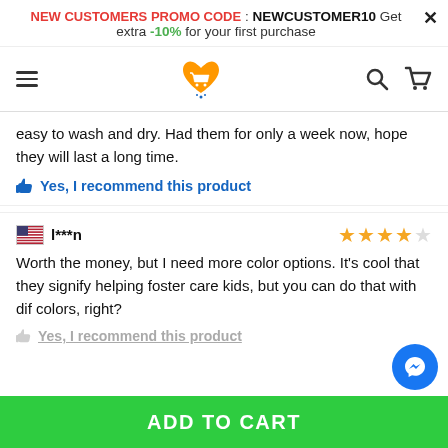NEW CUSTOMERS PROMO CODE : NEWCUSTOMER10 Get extra -10% for your first purchase
[Figure (logo): E-commerce site navbar with hamburger menu, heart-shaped shopping cart logo in orange, search icon, and cart icon]
easy to wash and dry. Had them for only a week now, hope they will last a long time.
👍 Yes, I recommend this product
l***n ★★★★☆ Worth the money, but I need more color options. It's cool that they signify helping foster care kids, but you can do that with dif colors, right?
👍 Yes, I recommend this product
TOP
ADD TO CART